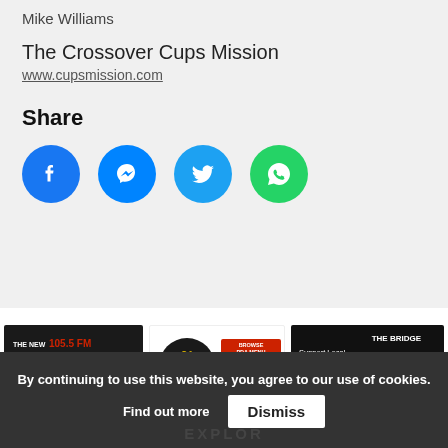Mike Williams
The Crossover Cups Mission
www.cupsmission.com
Share
[Figure (infographic): Four social media share buttons: Facebook (blue circle), Messenger (blue circle), Twitter (blue circle), WhatsApp (green circle)]
[Figure (infographic): Three advertisement banners: The New 105.5 FM / WeAreTheBridge.org, Victoria's Restaurant browse menu/order, The Bridge support local Christian radio with your car donation]
By continuing to use this website, you agree to our use of cookies.
Find out more
Dismiss